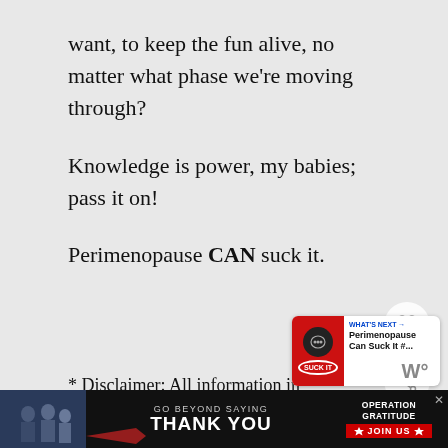want, to keep the fun alive, no matter what phase we’re moving through?
Knowledge is power, my babies; pass it on!
Perimenopause CAN suck it.
* Disclaimer: All information in this [article] is based on my personal experience and is
[Figure (screenshot): Podcast thumbnail overlay showing red icon with 'SUCK IT' text and title 'Perimenopause Can Suck It #...']
[Figure (screenshot): Advertisement banner at bottom: 'GO BEYOND SAYING THANK YOU' with Operation Gratitude logo and JOIN US button, with photo of people in jackets]